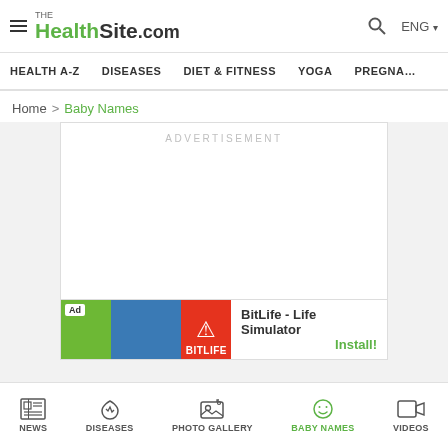TheHealthSite.com — ENG
HEALTH A-Z   DISEASES   DIET & FITNESS   YOGA   PREGNA…
Home > Baby Names
[Figure (screenshot): Advertisement placeholder box]
[Figure (screenshot): BitLife - Life Simulator app banner advertisement with Install button]
NEWS   DISEASES   PHOTO GALLERY   BABY NAMES   VIDEOS